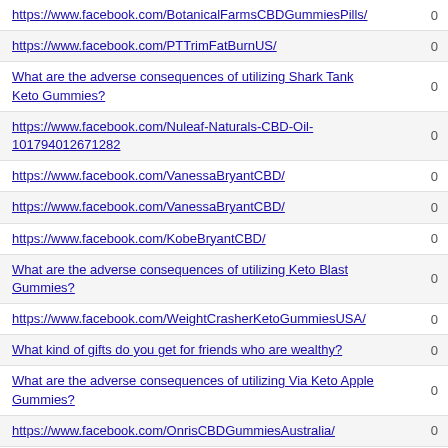| Link | Count |
| --- | --- |
| https://www.facebook.com/BotanicalFarmsCBDGummiesPills/ | 0 |
| https://www.facebook.com/PTTrimFatBurnUS/ | 0 |
| What are the adverse consequences of utilizing Shark Tank Keto Gummies? | 0 |
| https://www.facebook.com/Nuleaf-Naturals-CBD-Oil-101794012671282 | 0 |
| https://www.facebook.com/VanessaBryantCBD/ | 0 |
| https://www.facebook.com/VanessaBryantCBD/ | 0 |
| https://www.facebook.com/KobeBryantCBD/ | 0 |
| What are the adverse consequences of utilizing Keto Blast Gummies? | 0 |
| https://www.facebook.com/WeightCrasherKetoGummiesUSA/ | 0 |
| What kind of gifts do you get for friends who are wealthy? | 0 |
| What are the adverse consequences of utilizing Via Keto Apple Gummies? | 0 |
| https://www.facebook.com/OnrisCBDGummiesAustralia/ | 0 |
| https://www.facebook.com/PhilMcGrawCBDGummiesUS/ | 0 |
| https://www.facebook.com/Libifil-Male-Enhancement-US-102291055051559 | 0 |